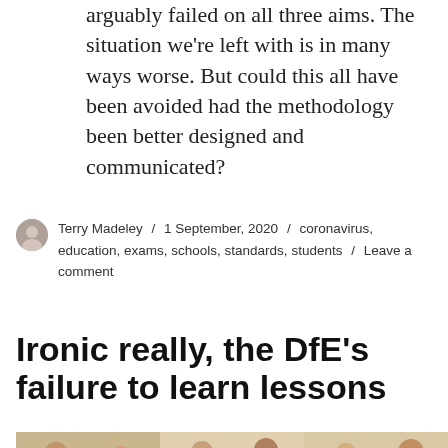arguably failed on all three aims. The situation we're left with is in many ways worse. But could this all have been avoided had the methodology been better designed and communicated?
Terry Madeley / 1 September, 2020 / coronavirus, education, exams, schools, standards, students / Leave a comment
Ironic really, the DfE's failure to learn lessons
[Figure (photo): Photo of students sitting at desks in a classroom, interacting with each other and teachers]